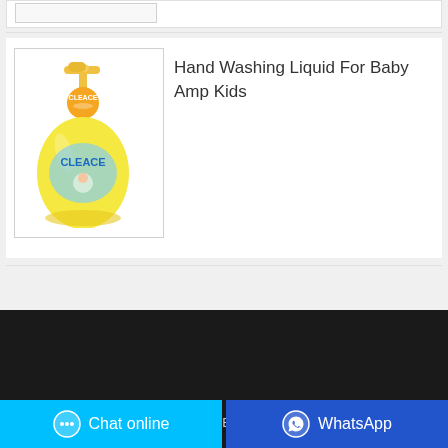[Figure (illustration): CLEACE brand hand washing liquid bottle for baby and kids, yellow rounded bottle with pump dispenser, CLEACE logo at top in orange circle]
Hand Washing Liquid For Baby Amp Kids
Copyright ©CLEACE All rights reserved
Chat online
WhatsApp